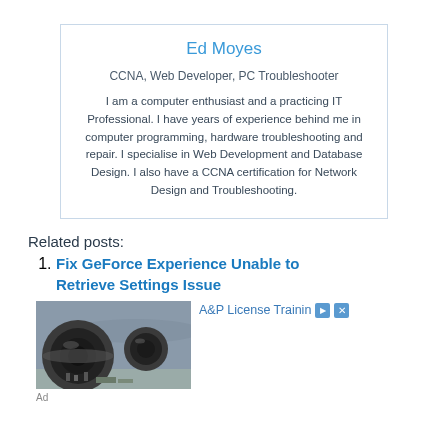Ed Moyes
CCNA, Web Developer, PC Troubleshooter
I am a computer enthusiast and a practicing IT Professional. I have years of experience behind me in computer programming, hardware troubleshooting and repair. I specialise in Web Development and Database Design. I also have a CCNA certification for Network Design and Troubleshooting.
Related posts:
Fix GeForce Experience Unable to Retrieve Settings Issue
[Figure (photo): Airplane engine close-up, jet turbines on tarmac with workers visible]
A&P License Trainin [ad icon] [close icon]
Ad